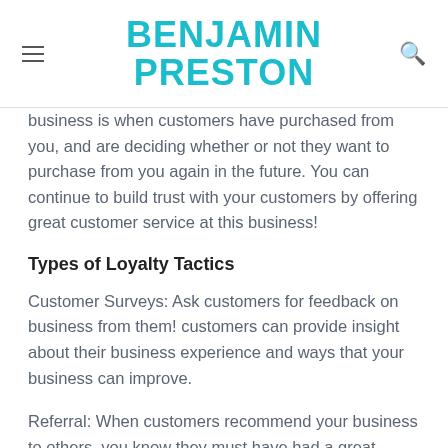BENJAMIN PRESTON
business is when customers have purchased from you, and are deciding whether or not they want to purchase from you again in the future. You can continue to build trust with your customers by offering great customer service at this business!
Types of Loyalty Tactics
Customer Surveys: Ask customers for feedback on business from them! customers can provide insight about their business experience and ways that your business can improve.
Referral: When customers recommend your business to others, you know they must have had a great bidding experience with you! This is an excellent way for them to